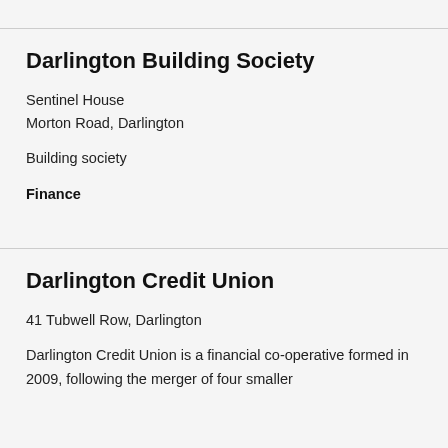Darlington Building Society
Sentinel House
Morton Road, Darlington
Building society
Finance
Darlington Credit Union
41 Tubwell Row, Darlington
Darlington Credit Union is a financial co-operative formed in 2009, following the merger of four smaller